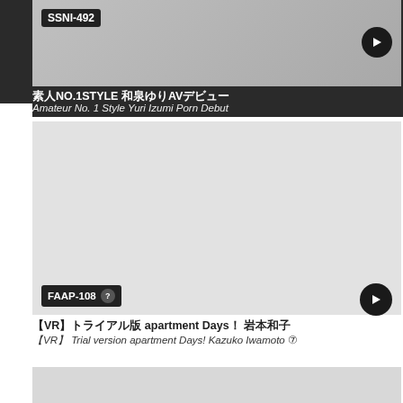[Figure (screenshot): Thumbnail image for SSNI-492 video with play button overlay]
素人NO.1STYLE 和泉ゆりAVデビュー
Amateur No. 1 Style Yuri Izumi Porn Debut
[Figure (screenshot): Thumbnail image for FAAP-108 video with play button overlay]
【VR】トライアル版 apartment Days！ 岩本和子
【VR】 Trial version apartment Days! Kazuko Iwamoto ⑦
[Figure (screenshot): Partial thumbnail of a third video at bottom of page]